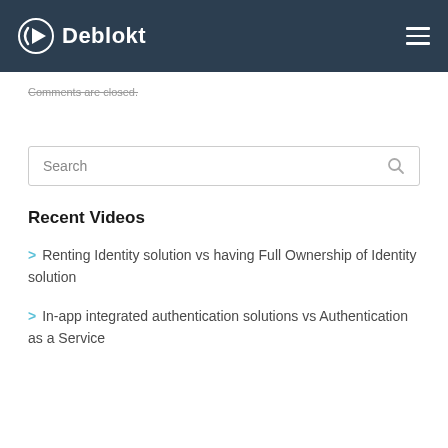Deblokt
Comments are closed.
Search
Recent Videos
Renting Identity solution vs having Full Ownership of Identity solution
In-app integrated authentication solutions vs Authentication as a Service